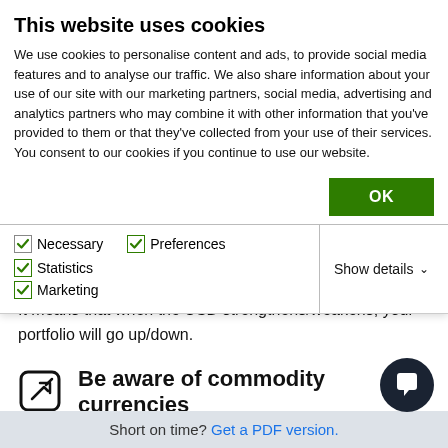This website uses cookies
We use cookies to personalise content and ads, to provide social media features and to analyse our traffic. We also share information about your use of our site with our marketing partners, social media, advertising and analytics partners who may combine it with other information that you've provided to them or that they've collected from your use of their services. You consent to our cookies if you continue to use our website.
OK
Necessary  Preferences  Statistics  Marketing  Show details
It means that when the USD strengthens/weakens, your portfolio will go up/down.
Be aware of commodity currencies
Commodity currencies represent currencies that move in accordance with commodity prices, because the countries they represent are he…
Short on time? Get a PDF version.